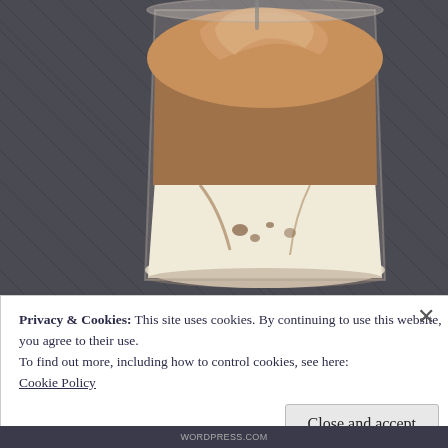[Figure (photo): Close-up photo of a glass containing a layered iced dalgona coffee drink, with whipped coffee foam on top and milk below, placed on a woven gray placemat/surface.]
Privacy & Cookies: This site uses cookies. By continuing to use this website, you agree to their use.
To find out more, including how to control cookies, see here:
Cookie Policy
Close and accept